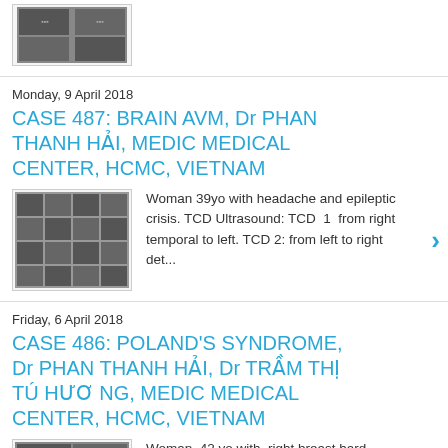[Figure (photo): Thumbnail medical scan images at top of page]
Monday, 9 April 2018
CASE 487: BRAIN AVM, Dr PHAN THANH HẢI, MEDIC MEDICAL CENTER, HCMC, VIETNAM
[Figure (photo): Grid of small medical scan images for Case 487]
Woman 39yo with headache and epileptic crisis. TCD Ultrasound: TCD  1  from right temporal to left. TCD 2: from left to right det...
Friday, 6 April 2018
CASE 486: POLAND'S SYNDROME, Dr PHAN THANH HẢI, Dr TRẦM THỊ TÚ HƯƠNG, MEDIC MEDICAL CENTER, HCMC, VIETNAM
[Figure (photo): Thumbnail medical scan image for Case 486]
Woman  42 yo with  right breast hard